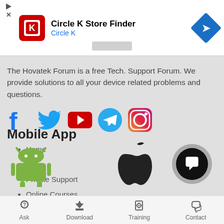[Figure (screenshot): Circle K Store Finder advertisement banner with Circle K logo, title, subtitle, and navigation arrow]
The Hovatek Forum is a free Tech. Support Forum. We provide solutions to all your device related problems and questions.
[Figure (infographic): Social media icons: Facebook, Twitter, YouTube, Telegram, Instagram]
Home
Blog
Private Support
Online Courses
Mobile App
[Figure (illustration): Android robot logo (green)]
[Figure (illustration): Apple logo (black)]
[Figure (illustration): Chat/support floating button (dark circle with chat icon)]
Ask   Download   Training   Contact